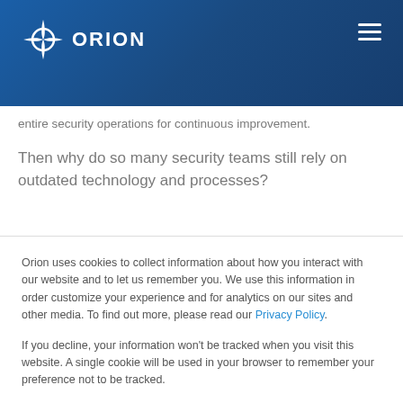ORION
entire security operations for continuous improvement.
Then why do so many security teams still rely on outdated technology and processes?
Orion uses cookies to collect information about how you interact with our website and to let us remember you. We use this information in order customize your experience and for analytics on our sites and other media. To find out more, please read our Privacy Policy.
If you decline, your information won't be tracked when you visit this website. A single cookie will be used in your browser to remember your preference not to be tracked.